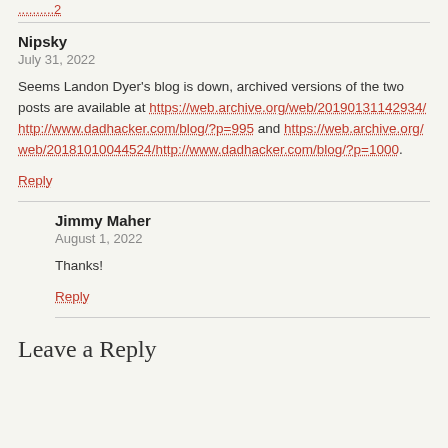..........2
Nipsky
July 31, 2022
Seems Landon Dyer's blog is down, archived versions of the two posts are available at https://web.archive.org/web/20190131142934/http://www.dadhacker.com/blog/?p=995 and https://web.archive.org/web/20181010044524/http://www.dadhacker.com/blog/?p=1000.
Reply
Jimmy Maher
August 1, 2022
Thanks!
Reply
Leave a Reply